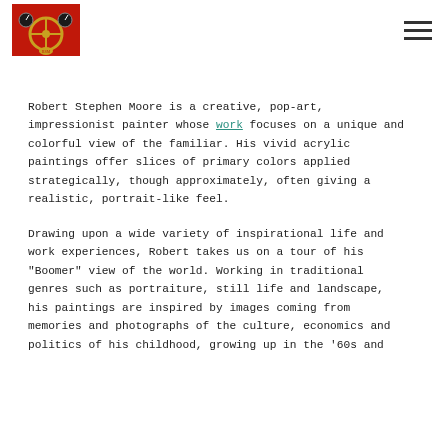[Figure (photo): Logo image showing a red vintage car interior dashboard with steering wheel, gauges, and the front emblem visible.]
Robert Stephen Moore is a creative, pop-art, impressionist painter whose work focuses on a unique and colorful view of the familiar. His vivid acrylic paintings offer slices of primary colors applied strategically, though approximately, often giving a realistic, portrait-like feel.
Drawing upon a wide variety of inspirational life and work experiences, Robert takes us on a tour of his "Boomer" view of the world. Working in traditional genres such as portraiture, still life and landscape, his paintings are inspired by images coming from memories and photographs of the culture, economics and politics of his childhood, growing up in the '60s and